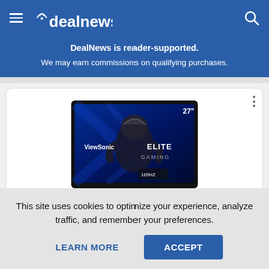dealnews
DealNews is reader-supported. We may earn commissions on qualifying purchases.
[Figure (photo): ViewSonic Elite Gaming 27-inch monitor product image on white background, showing the monitor with curved screen displaying a gaming character, labeled with 27 inch size and 165Hz refresh rate]
Walmart · 2 wks ago
This site uses cookies to optimize your experience, analyze traffic, and remember your preferences.
LEARN MORE
ACCEPT